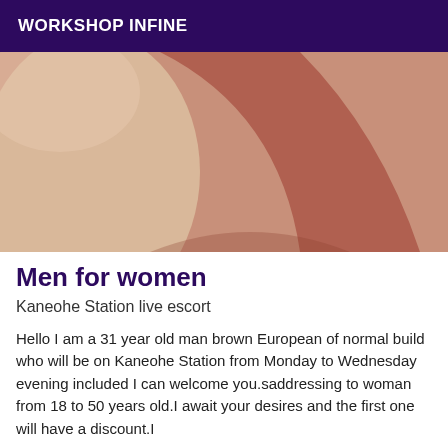WORKSHOP INFINE
[Figure (photo): Close-up photograph of a person's bare back/torso, showing skin tones in warm brown and neutral tones.]
Men for women
Kaneohe Station live escort
Hello I am a 31 year old man brown European of normal build who will be on Kaneohe Station from Monday to Wednesday evening included I can welcome you.saddressing to woman from 18 to 50 years old.I await your desires and the first one will have a discount.I